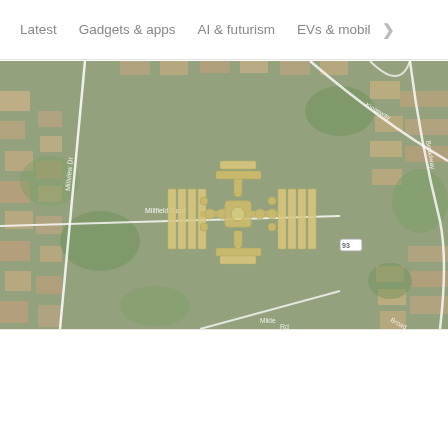Latest   Gadgets & apps   AI & futurism   EVs & mobil >
[Figure (map): Aerial satellite map showing a residential area with streets including Millview Dr, Millfield Gardens, Broadway, Kingsway, and a road marked 93. Overlaid in the center is a yellow icon resembling the International Space Station (ISS) shape — two large rectangular solar panel arrays flanking a central hub module with smaller nodes.]